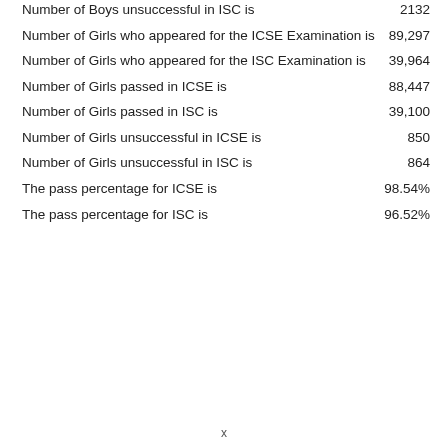Number of Boys unsuccessful in ISC is   2132
Number of Girls who appeared for the ICSE Examination is   89,297
Number of Girls who appeared for the ISC Examination is   39,964
Number of Girls passed in ICSE is   88,447
Number of Girls passed in ISC is   39,100
Number of Girls unsuccessful in ICSE is   850
Number of Girls unsuccessful in ISC is   864
The pass percentage for ICSE is   98.54%
The pass percentage for ISC is   96.52%
x